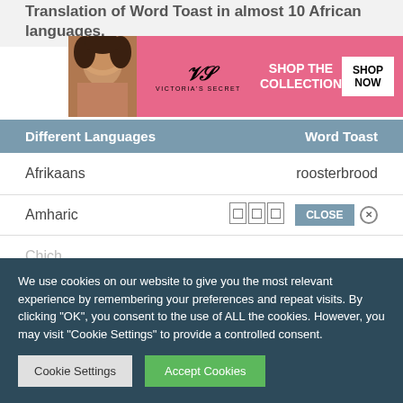Translation of Word Toast in almost 10 African languages.
[Figure (photo): Victoria's Secret advertisement banner with model, logo, 'SHOP THE COLLECTION' text and 'SHOP NOW' button on pink background]
| Different Languages | Word Toast |
| --- | --- |
| Afrikaans | roosterbrood |
| Amharic | □□□ |
| Chichewa |  |
[Figure (photo): Second Victoria's Secret advertisement banner with model and logo on pink background]
[Figure (photo): Video thumbnail showing a young girl in a pink shirt outdoors with a play button overlay]
We use cookies on our website to give you the most relevant experience by remembering your preferences and repeat visits. By clicking "OK", you consent to the use of ALL the cookies. However, you may visit "Cookie Settings" to provide a controlled consent.
Cookie Settings
Accept Cookies